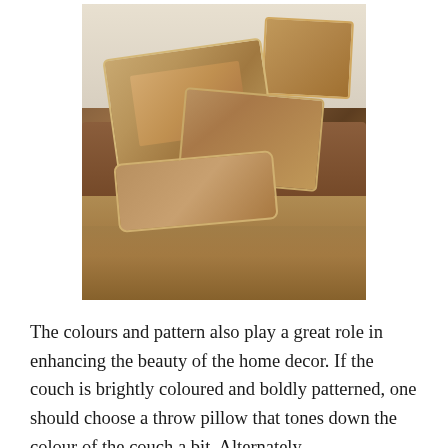[Figure (photo): A brown armchair and ottoman decorated with several ornate decorative throw pillows featuring horse and equestrian artwork with fringe and tassel trim, arranged on a patterned area rug in a home interior setting.]
The colours and pattern also play a great role in enhancing the beauty of the home decor. If the couch is brightly coloured and boldly patterned, one should choose a throw pillow that tones down the colour of the couch a bit. Alternately,